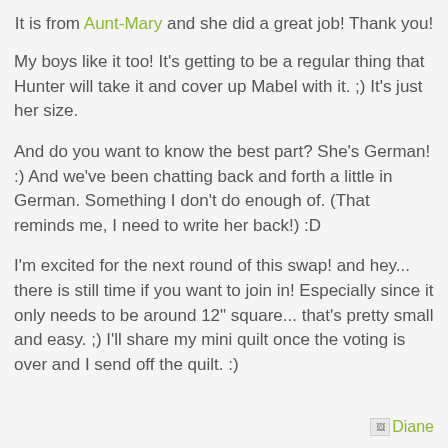It is from Aunt-Mary and she did a great job! Thank you!
My boys like it too! It's getting to be a regular thing that Hunter will take it and cover up Mabel with it. ;) It's just her size.
And do you want to know the best part? She's German! :) And we've been chatting back and forth a little in German. Something I don't do enough of. (That reminds me, I need to write her back!) :D
I'm excited for the next round of this swap! and hey... there is still time if you want to join in! Especially since it only needs to be around 12" square... that's pretty small and easy. ;) I'll share my mini quilt once the voting is over and I send off the quilt. :)
Diane